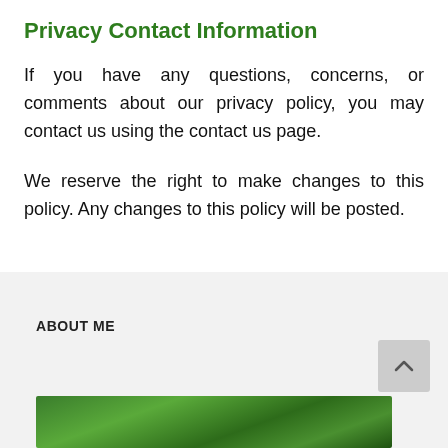Privacy Contact Information
If you have any questions, concerns, or comments about our privacy policy, you may contact us using the contact us page.
We reserve the right to make changes to this policy. Any changes to this policy will be posted.
ABOUT ME
[Figure (photo): Green leafy outdoor scene partially visible at the bottom of the page]